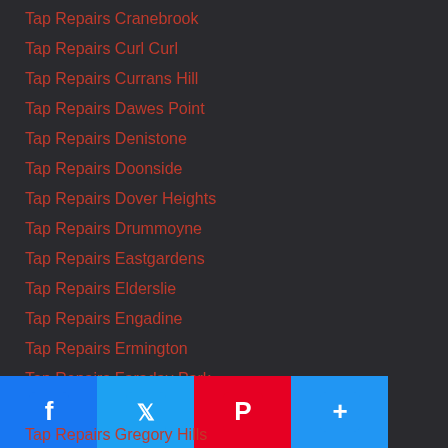Tap Repairs Cranebrook
Tap Repairs Curl Curl
Tap Repairs Currans Hill
Tap Repairs Dawes Point
Tap Repairs Denistone
Tap Repairs Doonside
Tap Repairs Dover Heights
Tap Repairs Drummoyne
Tap Repairs Eastgardens
Tap Repairs Elderslie
Tap Repairs Engadine
Tap Repairs Ermington
Tap Repairs Faraday Park
Tap Repairs Flemington
Tap Repairs Glades Bay
Tap Repairs Gladesville
Tap Repairs Glenwood
Tap Repairs Gregory Hills